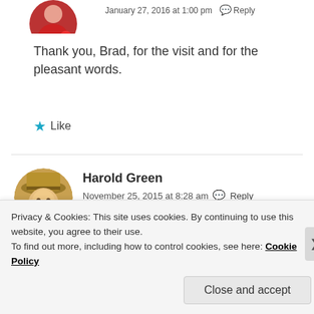[Figure (photo): Circular avatar photo of a person in a red jacket, partially visible at top]
January 27, 2016 at 1:00 pm  Reply
Thank you, Brad, for the visit and for the pleasant words.
★ Like
[Figure (photo): Circular avatar photo of Harold Green, a man wearing a tan hat]
Harold Green
November 25, 2015 at 8:28 am  Reply
Thank you Victor for following my photography blog;
Privacy & Cookies: This site uses cookies. By continuing to use this website, you agree to their use.
To find out more, including how to control cookies, see here: Cookie Policy
Close and accept